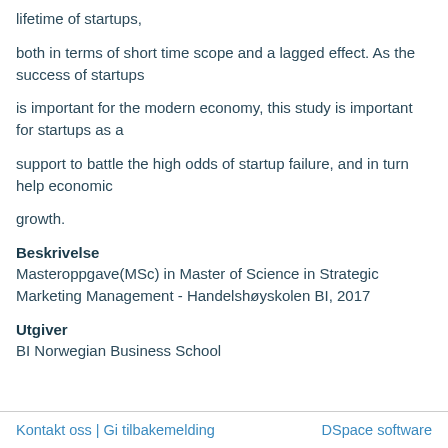lifetime of startups,
both in terms of short time scope and a lagged effect. As the success of startups
is important for the modern economy, this study is important for startups as a
support to battle the high odds of startup failure, and in turn help economic
growth.
Beskrivelse
Masteroppgave(MSc) in Master of Science in Strategic Marketing Management - Handelshøyskolen BI, 2017
Utgiver
BI Norwegian Business School
Kontakt oss | Gi tilbakemelding    DSpace software